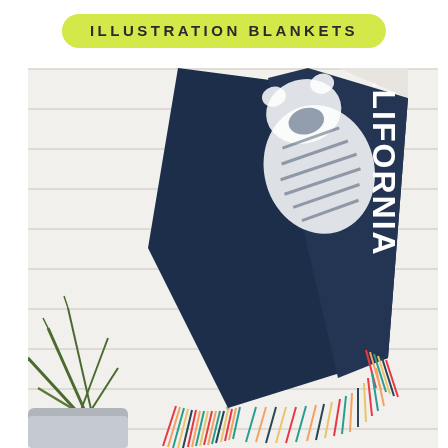ILLUSTRATION BLANKETS
[Figure (photo): A navy blue woven blanket with 'CALIFORNIA' text and a bear graphic, hanging diagonally against a white wooden plank wall background with colorful fringe trim at the bottom. A green plant is partially visible at the lower left, and a grey upholstered furniture piece is at the bottom left corner.]